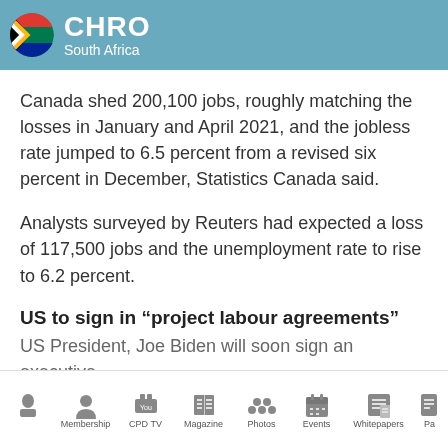CHRO South Africa
Canada shed 200,100 jobs, roughly matching the losses in January and April 2021, and the jobless rate jumped to 6.5 percent from a revised six percent in December, Statistics Canada said.
Analysts surveyed by Reuters had expected a loss of 117,500 jobs and the unemployment rate to rise to 6.2 percent.
US to sign in “project labour agreements”
US President, Joe Biden will soon sign an executive
Membership  CPD TV  Magazine  Photos  Events  Whitepapers  Pa